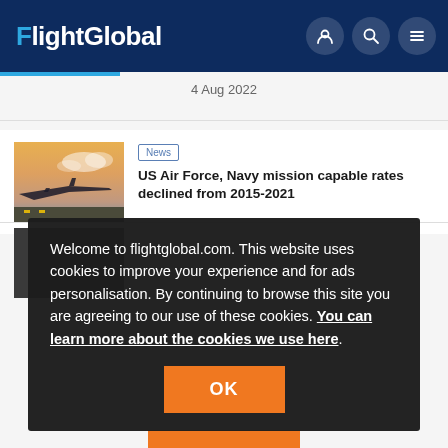FlightGlobal
4 Aug 2022
News
US Air Force, Navy mission capable rates declined from 2015-2021
Welcome to flightglobal.com. This website uses cookies to improve your experience and for ads personalisation. By continuing to browse this site you are agreeing to our use of these cookies. You can learn more about the cookies we use here.
OK